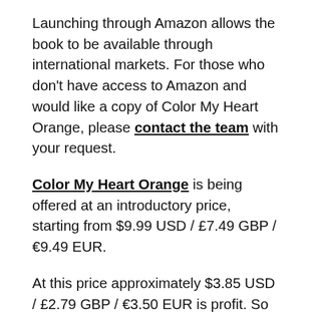Launching through Amazon allows the book to be available through international markets. For those who don't have access to Amazon and would like a copy of Color My Heart Orange, please contact the team with your request.
Color My Heart Orange is being offered at an introductory price, starting from $9.99 USD / £7.49 GBP / €9.49 EUR.
At this price approximately $3.85 USD / £2.79 GBP / €3.50 EUR is profit. So for every purchase, this gives you an idea of